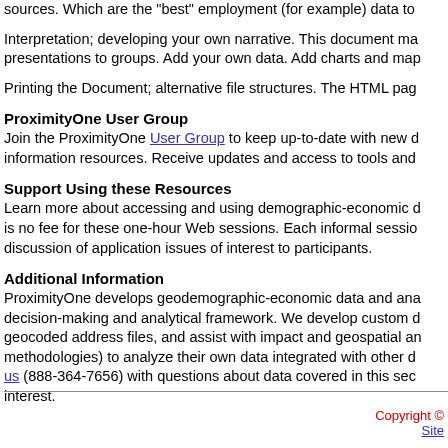sources. Which are the "best" employment (for example) data to
Interpretation; developing your own narrative. This document ma presentations to groups. Add your own data. Add charts and maps
Printing the Document; alternative file structures. The HTML pag
ProximityOne User Group
Join the ProximityOne User Group to keep up-to-date with new information resources. Receive updates and access to tools and
Support Using these Resources
Learn more about accessing and using demographic-economic d is no fee for these one-hour Web sessions. Each informal sessio discussion of application issues of interest to participants.
Additional Information
ProximityOne develops geodemographic-economic data and ana decision-making and analytical framework. We develop custom g geocoded address files, and assist with impact and geospatial a methodologies) to analyze their own data integrated with other d us (888-364-7656) with questions about data covered in this sec interest.
Copyright © Site